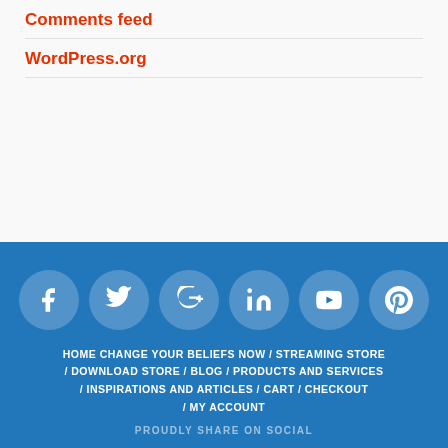Comments feed
WordPress.org
HOME CHANGE YOUR BELIEFS NOW / STREAMING STORE / DOWNLOAD STORE / BLOG / PRODUCTS AND SERVICES / INSPIRATIONS AND ARTICLES / CART / CHECKOUT / MY ACCOUNT
PROUDLY SHARE ON SOCIAL